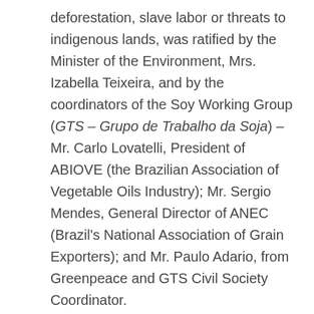deforestation, slave labor or threats to indigenous lands, was ratified by the Minister of the Environment, Mrs. Izabella Teixeira, and by the coordinators of the Soy Working Group (GTS – Grupo de Trabalho da Soja) – Mr. Carlo Lovatelli, President of ABIOVE (the Brazilian Association of Vegetable Oils Industry); Mr. Sergio Mendes, General Director of ANEC (Brazil's National Association of Grain Exporters); and Mr. Paulo Adario, from Greenpeace and GTS Civil Society Coordinator.
Since the initial signing of the Moratorium, the area occupied by soy in the Brazilian